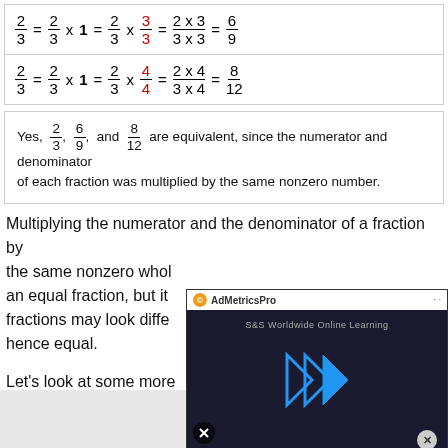Yes, 2/3, 6/9, and 8/12 are equivalent, since the numerator and denominator of each fraction was multiplied by the same nonzero number.
Multiplying the numerator and the denominator of a fraction by the same nonzero whole number gives an equal fraction, but it will look different. These fractions may look different, but they are equivalent, hence equal.
Let's look at some more examples.
[Figure (screenshot): AdMetricsPro video ad overlay showing a video player with play button arrows and S&S Worldwide Online Learning text]